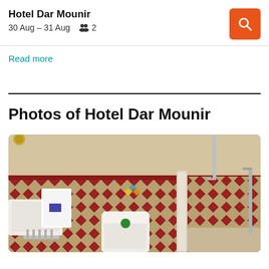Hotel Dar Mounir
30 Aug – 31 Aug   2
Read more
Photos of Hotel Dar Mounir
[Figure (photo): Bathroom interior of Hotel Dar Mounir showing red and beige diamond-patterned mosaic tile walls, a white toilet, white sink on the left with a towel, and a shower area on the right.]